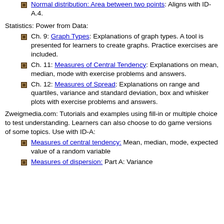Normal distribution: Area between two points: Aligns with ID-A.4.
Statistics: Power from Data:
Ch. 9: Graph Types: Explanations of graph types.  A tool is presented for learners to create graphs.  Practice exercises are included.
Ch. 11: Measures of Central Tendency: Explanations on mean, median, mode with exercise problems and answers.
Ch. 12: Measures of Spread: Explanations on range and quartiles, variance and standard deviation, box and whisker plots with exercise problems and answers.
Zweigmedia.com:  Tutorials and examples using fill-in or multiple choice to test understanding.  Learners can also choose to do game versions of some topics.  Use with ID-A:
Measures of central tendency: Mean, median, mode, expected value of a random variable
Measures of dispersion: Part A: Variance